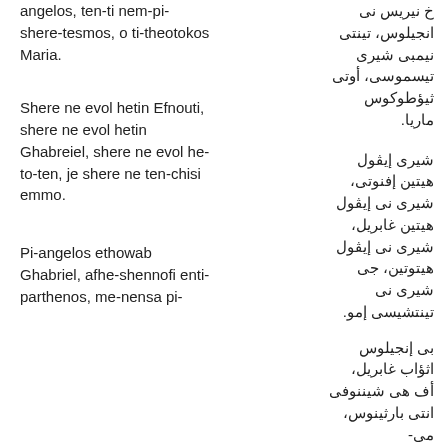angelos, ten-ti nem-pi-shere-tesmos, o ti-theotokos Maria.
خ نيريس نى انجيلوس، تينتى نيمبى شيرى تيسموسى، أوتى ثيؤطوكوس ماريا.
Shere ne evol hetin Efnouti, shere ne evol hetin Ghabreiel, shere ne evol he-to-ten, je shere ne ten-chisi emmo.
شيرى إيڤول هيتين إفنوتى، شيرى نى إيڤول هيتين غابريل، شيرى نى إيڤول هيتوتين، جى شيرى نى تينتشيسى إمو.
Pi-angelos ethowab Ghabriel, afhe-shennofi enti-parthenos, me-nensa pi-
بى إنجيلوس اثؤاب غابريل، أف هى شيننوفى انتى بارثينوس، مى-